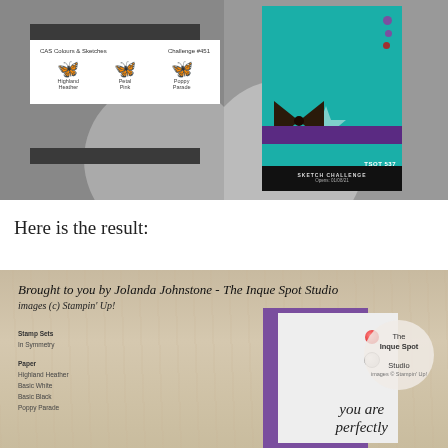[Figure (illustration): CAS Colours and Sketches Challenge #451 card showing three butterfly color swatches: Highland Heather (purple), Petal Pink (peach), and Poppy Parade (red) on a grey background with dark bars top and bottom]
[Figure (illustration): TSOT 537 Sketch Challenge card on grey background showing a teal card design with purple stripe, star, ribbon, dots and decorative elements]
Here is the result:
[Figure (photo): Craft card photo on wood background showing a purple and white card with 'you are perfectly' script, gems, logo circle for The Inque Spot Studio, and supply list including Stamp Sets: In Symmetry; Paper: Highland Heather, Basic White, Basic Black, Poppy Parade. Background text: Brought to you by Jolanda Johnstone - The Inque Spot Studio, images (c) Stampin' Up!]